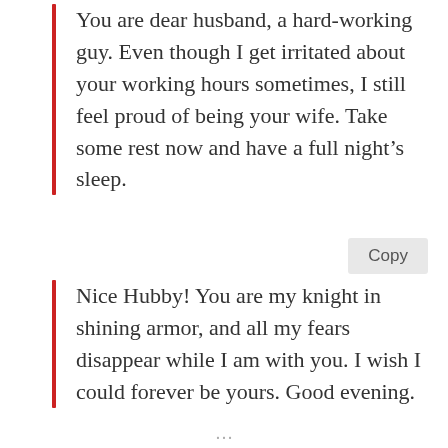You are dear husband, a hard-working guy. Even though I get irritated about your working hours sometimes, I still feel proud of being your wife. Take some rest now and have a full night's sleep.
Nice Hubby! You are my knight in shining armor, and all my fears disappear while I am with you. I wish I could forever be yours. Good evening.